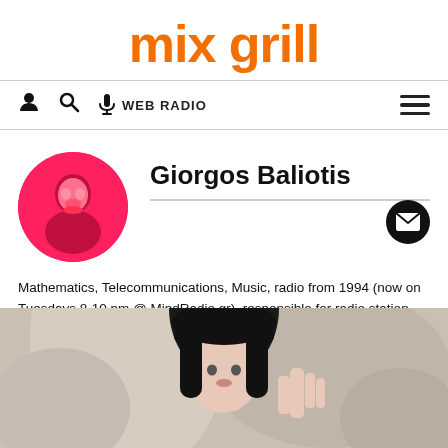mix grill
WEB RADIO navigation bar
[Figure (photo): Circular profile photo of Giorgos Baliotis with hot-pink/red color treatment]
Giorgos Baliotis
Mathematics, Telecommunications, Music, radio from 1994 (now on Tuesdays 8-10 pm @ MindRadio.gr), responsible for radio station "Horos 94,2", chief editor at "Horos ZIN" magazine, chief editor at Mix Grill from 2008.
[Figure (photo): Photo of a woman with black hair and bangs, outdoors with rocky background]